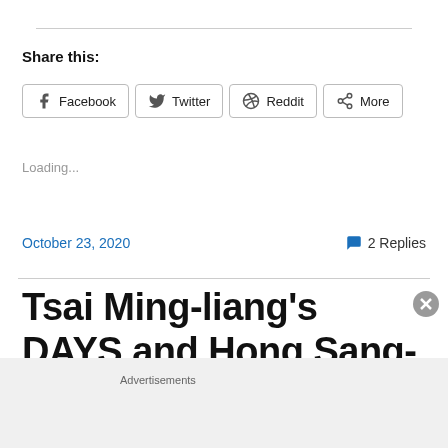Share this:
Facebook
Twitter
Reddit
More
Loading...
October 23, 2020
2 Replies
Tsai Ming-liang's DAYS and Hong Sang-soo's THE WOMAN
Advertisements